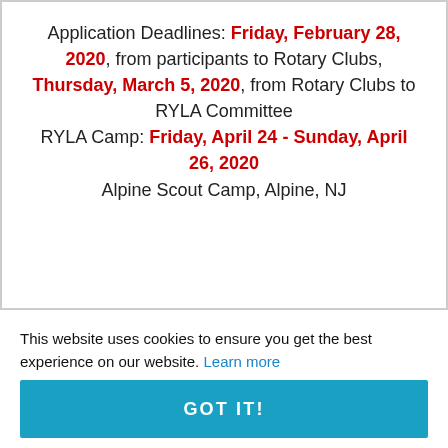Application Deadlines: Friday, February 28, 2020, from participants to Rotary Clubs, Thursday, March 5, 2020, from Rotary Clubs to RYLA Committee RYLA Camp: Friday, April 24 - Sunday, April 26, 2020 Alpine Scout Camp, Alpine, NJ
This website uses cookies to ensure you get the best experience on our website. Learn more
GOT IT!